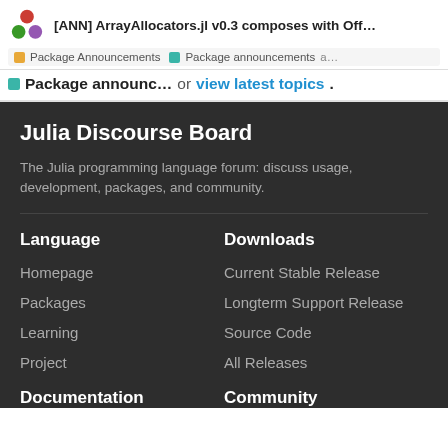[ANN] ArrayAllocators.jl v0.3 composes with Off...
Package Announcements · Package announcements · a…
Package announc… or view latest topics.
Julia Discourse Board
The Julia programming language forum: discuss usage, development, packages, and community.
Language
Homepage
Packages
Learning
Project
Downloads
Current Stable Release
Longterm Support Release
Source Code
All Releases
Documentation
Community